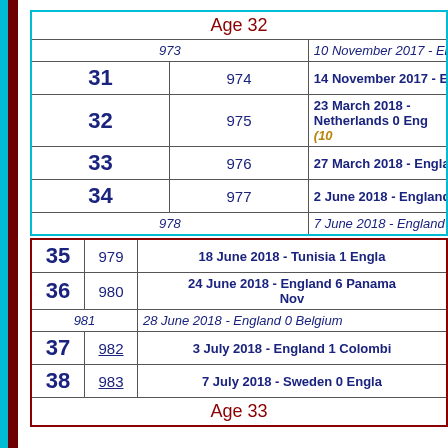| # | Cap | Match |
| --- | --- | --- |
| Age 32 |  |  |
|  | 973 | 10 November 2017 - England 0 Germ... |
| 31 | 974 | 14 November 2017 - England 0 Bra... |
| 32 | 975 | 23 March 2018 - Netherlands 0 Eng... (10...) |
| 33 | 976 | 27 March 2018 - England 1 Italy ... |
| 34 | 977 | 2 June 2018 - England 2 Nigeria 1,... |
|  | 978 | 7 June 2018 - England 2 Cos... |
| 35 | 979 | 18 June 2018 - Tunisia 1 Engla... |
| 36 | 980 | 24 June 2018 - England 6 Panama... Nov... |
|  | 981 | 28 June 2018 - England 0 Belgium... |
| 37 | 982 | 3 July 2018 - England 1 Colombi... |
| 38 | 983 | 7 July 2018 - Sweden 0 Engla... |
| Age 33 |  |  |